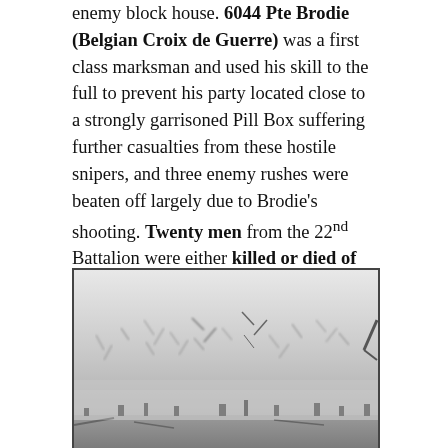enemy block house. 6044 Pte Brodie (Belgian Croix de Guerre) was a first class marksman and used his skill to the full to prevent his party located close to a strongly garrisoned Pill Box suffering further casualties from these hostile snipers, and three enemy rushes were beaten off largely due to Brodie's shooting. Twenty men from the 22nd Battalion were either killed or died of their wounds during this flanking operation.
[Figure (photo): Black and white photograph showing a devastated, misty landscape with bare broken tree trunks and stumps characteristic of WWI battlefield destruction.]